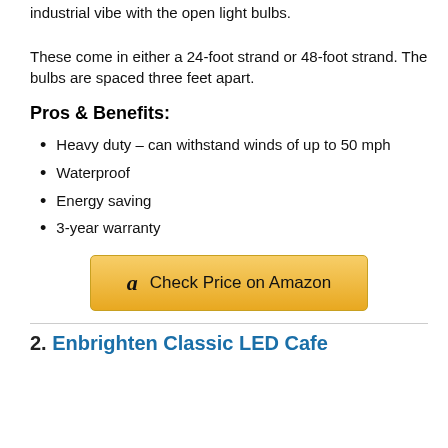industrial vibe with the open light bulbs. These come in either a 24-foot strand or 48-foot strand. The bulbs are spaced three feet apart.
Pros & Benefits:
Heavy duty – can withstand winds of up to 50 mph
Waterproof
Energy saving
3-year warranty
[Figure (other): Amazon affiliate button: 'Check Price on Amazon' with Amazon logo]
2. Enbrighten Classic LED Cafe